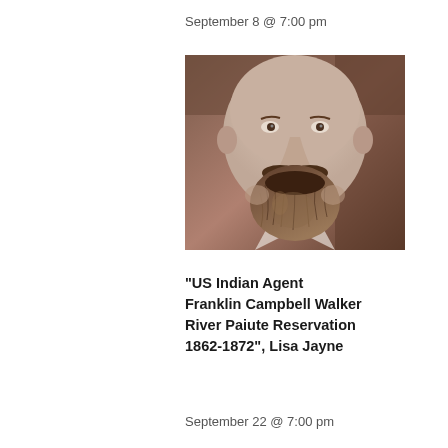September 8 @ 7:00 pm
[Figure (photo): Close-up historical black-and-white sepia photograph of a man with a large bushy mustache and beard, eyes visible at the top, wearing a light-colored collar, dark background.]
“US Indian Agent Franklin Campbell Walker River Paiute Reservation 1862-1872”, Lisa Jayne
September 22 @ 7:00 pm